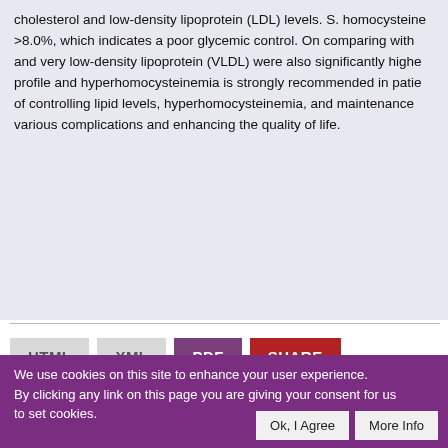cholesterol and low-density lipoprotein (LDL) levels. S. homocysteine >8.0%, which indicates a poor glycemic control. On comparing with and very low-density lipoprotein (VLDL) were also significantly higher profile and hyperhomocysteinemia is strongly recommended in patients of controlling lipid levels, hyperhomocysteinemia, and maintenance various complications and enhancing the quality of life.
[Figure (screenshot): Buttons for HTML, XML, PDF, and SHARE document format options]
[Figure (screenshot): Cookie consent banner with purple background: 'We use cookies on this site to enhance your user experience. By clicking any link on this page you are giving your consent for us to set cookies.' with Ok, I Agree and More Info buttons.]